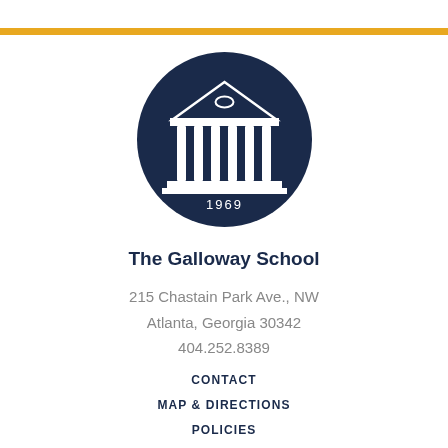[Figure (logo): The Galloway School circular logo: dark navy blue circle with white Greek temple/columns and '1969' text at bottom]
The Galloway School
215 Chastain Park Ave., NW
Atlanta, Georgia 30342
404.252.8389
CONTACT
MAP & DIRECTIONS
POLICIES